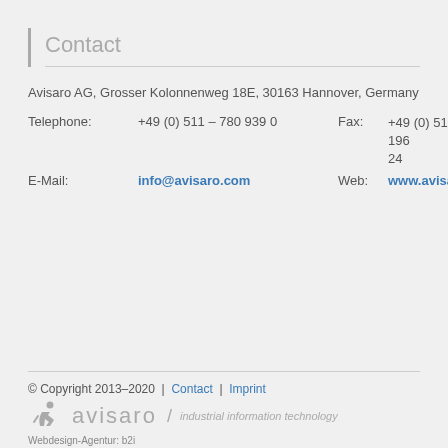Contact
Avisaro AG, Grosser Kolonnenweg 18E, 30163 Hannover, Germany
Telephone: +49 (0) 511 – 780 939 0   Fax: +49 (0) 511 – 353 196 24
E-Mail: info@avisaro.com   Web: www.avisaro.com
© Copyright 2013–2020 | Contact | Imprint
[Figure (logo): Avisaro logo with stylized figure icon, company name 'avisaro' and tagline 'industrial information technology']
Webdesign-Agentur: b2i